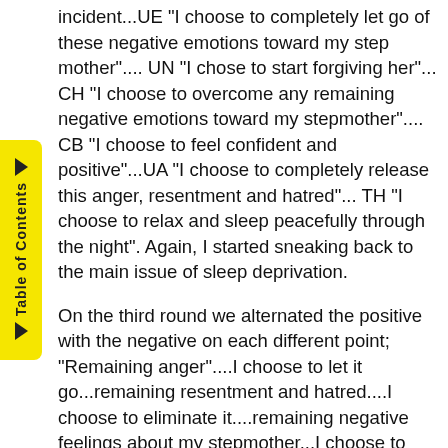incident...UE "I choose to completely let go of these negative emotions toward my step mother".... UN "I chose to start forgiving her"... CH "I choose to overcome any remaining negative emotions toward my stepmother".... CB "I choose to feel confident and positive"...UA "I choose to completely release this anger, resentment and hatred"... TH "I choose to relax and sleep peacefully through the night". Again, I started sneaking back to the main issue of sleep deprivation.
On the third round we alternated the positive with the negative on each different point; "Remaining anger"....I choose to let it go...remaining resentment and hatred....I choose to eliminate it....remaining negative feelings about my stepmother...I choose to overcome them completely ....remaining negative emotions .... I choose to overcome them and start forgiving what's her name." This brought a chuckle, which like Gary teaches, is a great way to change the